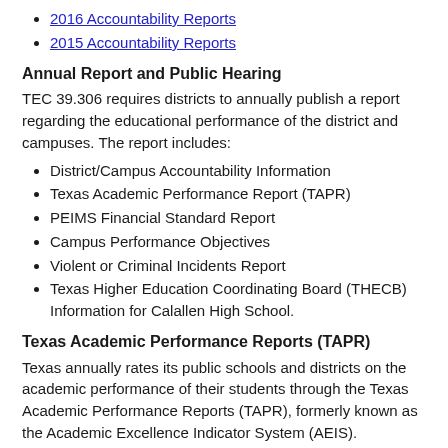2016 Accountability Reports
2015 Accountability Reports
Annual Report and Public Hearing
TEC 39.306 requires districts to annually publish a report regarding the educational performance of the district and campuses. The report includes:
District/Campus Accountability Information
Texas Academic Performance Report (TAPR)
PEIMS Financial Standard Report
Campus Performance Objectives
Violent or Criminal Incidents Report
Texas Higher Education Coordinating Board (THECB) Information for Calallen High School.
Texas Academic Performance Reports (TAPR)
Texas annually rates its public schools and districts on the academic performance of their students through the Texas Academic Performance Reports (TAPR), formerly known as the Academic Excellence Indicator System (AEIS).
CISD TAPR 20-21 PDF